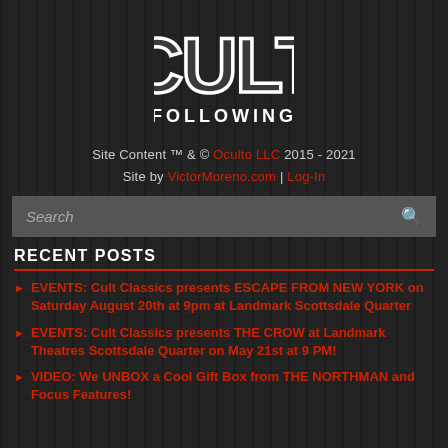[Figure (logo): Cult Following logo — stylized 'CULT' text in large dark grey block letters with white outline, and 'FOLLOWING' in white spaced text below, on a dark wood-grain background]
Site Content ™ & © Oculto LLC 2015 - 2021
Site by VictorMoreno.com | Log-In
Search
RECENT POSTS
EVENTS: Cult Classics presents ESCAPE FROM NEW YORK on Saturday August 20th at 9pm at Landmark Scottsdale Quarter
EVENTS: Cult Classics presents THE CROW at Landmark Theatres Scottsdale Quarter on May 21st at 9 PM!
VIDEO: We UNBOX a Cool Gift Box from THE NORTHMAN and Focus Features!